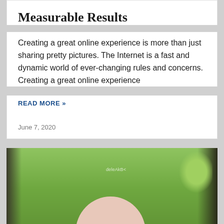Measurable Results
Creating a great online experience is more than just sharing pretty pictures. The Internet is a fast and dynamic world of ever-changing rules and concerns. Creating a great online experience
READ MORE »
June 7, 2020
[Figure (photo): Outdoor photo showing the top of a person's head with grey/white hair, set against a green leafy background and dark fence/foliage.]